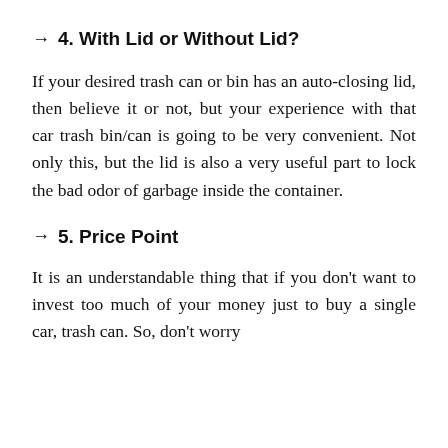→ 4. With Lid or Without Lid?
If your desired trash can or bin has an auto-closing lid, then believe it or not, but your experience with that car trash bin/can is going to be very convenient. Not only this, but the lid is also a very useful part to lock the bad odor of garbage inside the container.
→ 5. Price Point
It is an understandable thing that if you don't want to invest too much of your money just to buy a single car, trash can. So, don't worry